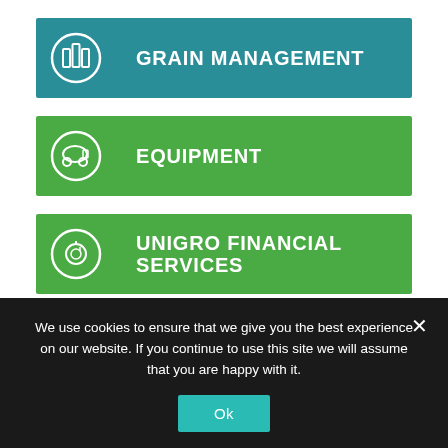[Figure (infographic): Teal menu button with grain silo icon and label GRAIN MANAGEMENT]
[Figure (infographic): Green menu button with tractor icon and label EQUIPMENT]
[Figure (infographic): Green menu button with financial/coin icon and label UNIGRO FINANCIAL SERVICES]
[Figure (infographic): Red menu button with plant/seedling icon and label LEMANG AGRICULTURAL SERVICES]
We use cookies to ensure that we give you the best experience on our website. If you continue to use this site we will assume that you are happy with it.